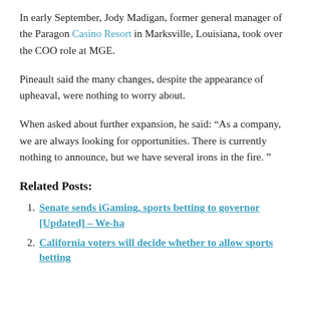In early September, Jody Madigan, former general manager of the Paragon Casino Resort in Marksville, Louisiana, took over the COO role at MGE.
Pineault said the many changes, despite the appearance of upheaval, were nothing to worry about.
When asked about further expansion, he said: “As a company, we are always looking for opportunities. There is currently nothing to announce, but we have several irons in the fire. ”
Related Posts:
Senate sends iGaming, sports betting to governor [Updated] – We-ha
California voters will decide whether to allow sports betting